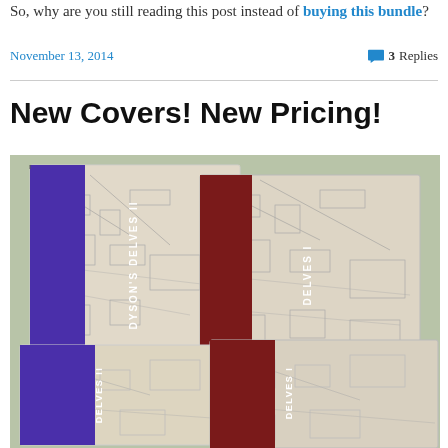So, why are you still reading this post instead of buying this bundle?
November 13, 2014     3 Replies
New Covers! New Pricing!
[Figure (photo): Two print books lying overlapping each other — 'Dyson's Delves II' with purple spine and 'Delves I' with dark red spine — both showing dungeon map covers.]